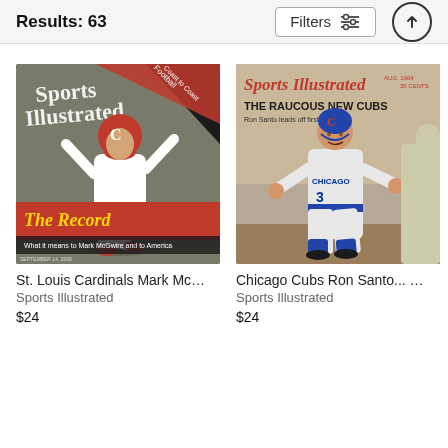Results: 63
[Figure (screenshot): Sports Illustrated magazine cover featuring St. Louis Cardinals Mark McGwire celebrating, with headline 'The Record – What it means to Mark McGwire and to America']
St. Louis Cardinals Mark Mcgw...
Sports Illustrated
$24
[Figure (screenshot): Sports Illustrated magazine cover featuring Chicago Cubs Ron Santo in fielding stance, with headline 'THE RAUCOUS NEW CUBS']
Chicago Cubs Ron Santo... Sp...
Sports Illustrated
$24